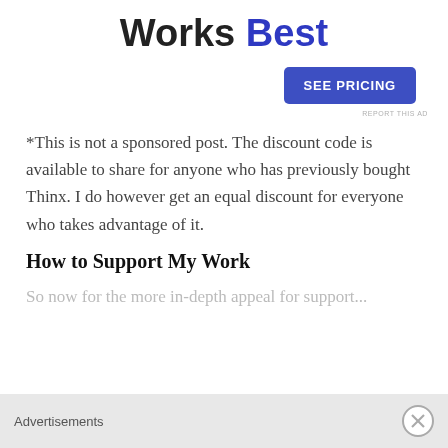Works Best
[Figure (other): Blue 'SEE PRICING' button]
REPORT THIS AD
*This is not a sponsored post. The discount code is available to share for anyone who has previously bought Thinx. I do however get an equal discount for everyone who takes advantage of it.
How to Support My Work
So now for the more in-depth appeal for support...
Advertisements
REPORT THIS AD